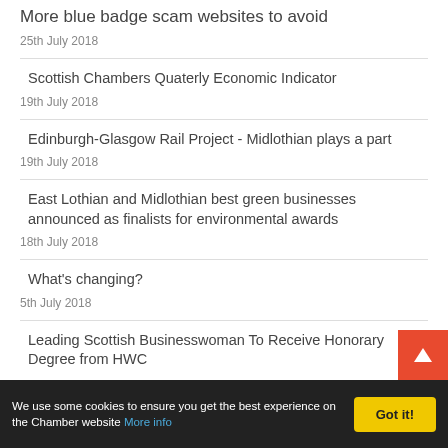More blue badge scam websites to avoid
25th July 2018
Scottish Chambers Quaterly Economic Indicator
19th July 2018
Edinburgh-Glasgow Rail Project - Midlothian plays a part
19th July 2018
East Lothian and Midlothian best green businesses announced as finalists for environmental awards
18th July 2018
What's changing?
5th July 2018
Leading Scottish Businesswoman To Receive Honorary Degree from HWC
We use some cookies to ensure you get the best experience on the Chamber website More info